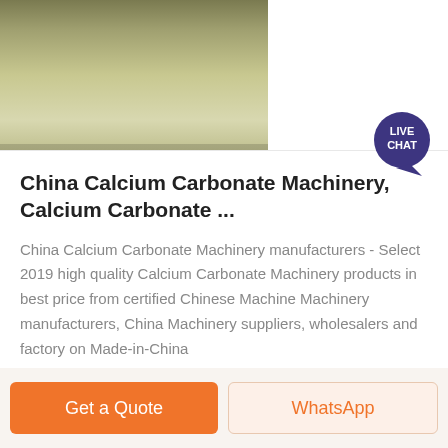[Figure (photo): Top banner with two images: left shows an industrial/factory floor interior with greenish floor, right shows ACrusher Mining Equipment company logo with red diamond shape icon]
China Calcium Carbonate Machinery, Calcium Carbonate ...
China Calcium Carbonate Machinery manufacturers - Select 2019 high quality Calcium Carbonate Machinery products in best price from certified Chinese Machine Machinery manufacturers, China Machinery suppliers, wholesalers and factory on Made-in-China
Get Price
Get a Quote
WhatsApp